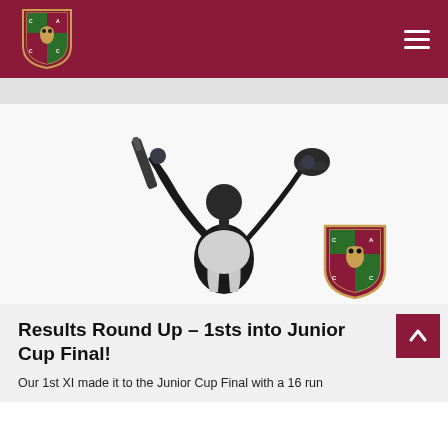CACC Cricket Club logo and navigation header
[Figure (photo): Cricket player silhouette celebrating, raising bat and helmet in triumph, with CACC club logo shield overlaid at bottom right]
Results Round Up – 1sts into Junior Cup Final!
Our 1st XI made it to the Junior Cup Final with a 16 run